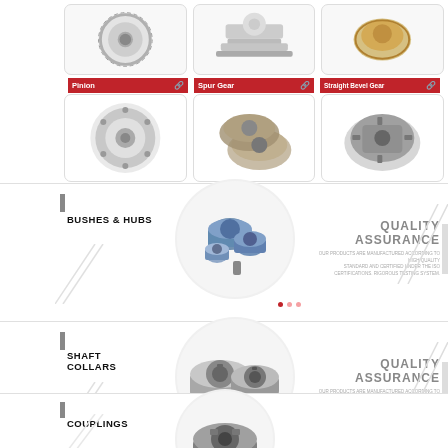[Figure (photo): Three gear product photos in top row: Pinion (round flanged gear), Spur Gear (stacked spur gears), Straight Bevel Gear (bevel gear assembly). Bottom row shows corresponding product images.]
Pinion
Spur Gear
Straight Bevel Gear
BUSHES & HUBS
[Figure (photo): Round metallic bushes and hubs components arranged in a circle image]
QUALITY ASSURANCE
OUR PRODUCTS ARE MANUFACTURED ACCORDING TO HIGH QUALITY STANDARD AND CERTIFIED UNDER THE ISO CERTIFICATIONS. RIGOROUS TESTING SYSTEM.
SHAFT COLLARS
[Figure (photo): Shaft collars components - two metallic ring collars shown inside circle]
QUALITY ASSURANCE
OUR PRODUCTS ARE MANUFACTURED ACCORDING TO HIGH QUALITY STANDARD AND CERTIFIED UNDER THE ISO CERTIFICATIONS. RIGOROUS TESTING SYSTEM.
COUPLINGS
[Figure (photo): Coupling components shown in circle at bottom]